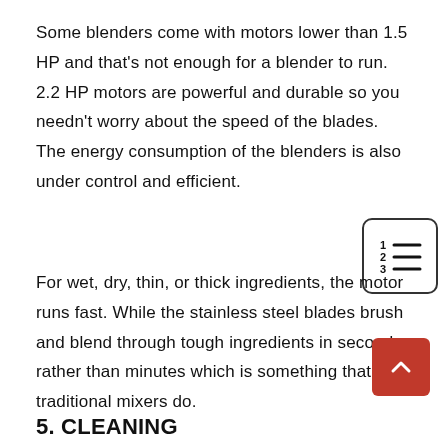Some blenders come with motors lower than 1.5 HP and that's not enough for a blender to run. 2.2 HP motors are powerful and durable so you needn't worry about the speed of the blades. The energy consumption of the blenders is also under control and efficient.
For wet, dry, thin, or thick ingredients, the motor runs fast. While the stainless steel blades brush and blend through tough ingredients in seconds, rather than minutes which is something that traditional mixers do.
5. CLEANING